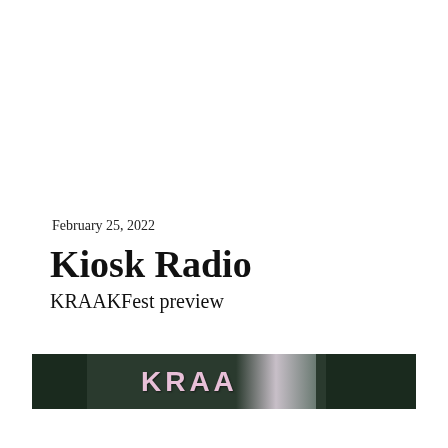February 25, 2022
Kiosk Radio
KRAAKFest preview
[Figure (photo): A dark green/black horizontal banner/photo strip showing partial letters in pink/light color against a dark background, with a blurred light area toward the right side.]